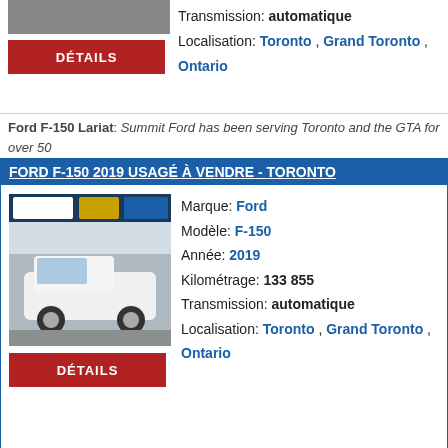Transmission: automatique
Localisation: Toronto , Grand Toronto , Ontario
Ford F-150 Lariat: Summit Ford has been serving Toronto and the GTA for over 50 Consumer Trust ...
FORD F-150 2019 USAGÉ À VENDRE - TORONTO
[Figure (photo): White Ford F-150 truck at a dealership]
Marque: Ford
Modèle: F-150
Année: 2019
Kilométrage: 133 855
Transmission: automatique
Localisation: Toronto , Grand Toronto , Ontario
Ford F-150 Limited: Summit Ford has been serving Toronto and the GTA for over 5 Consumer Trust ...
FORD MUSTANG 1970 USAGÉ À VENDRE - TORONTO
[Figure (photo): Yellow Ford Mustang 1970 parked outside]
Marque: Ford
Modèle: Mustang
Année: 1970